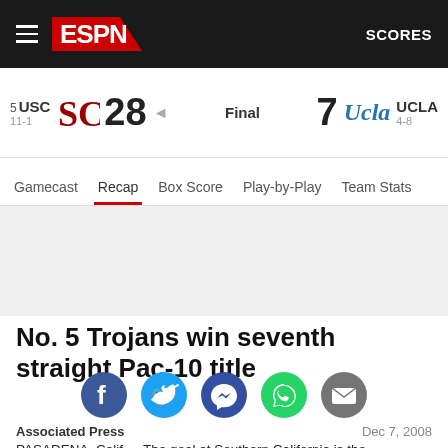ESPN — SCORES
5 USC 11-1 28 Final 7 UCLA 4-8
Gamecast | Recap | Box Score | Play-by-Play | Team Stats
No. 5 Trojans win seventh straight Pac-10 title
[Figure (infographic): Social sharing icons: Facebook, Twitter, Messenger, WhatsApp, Email]
Associated Press
Dec 7, 2008
PASADENA, Calif. -- The goal at Southern California is the